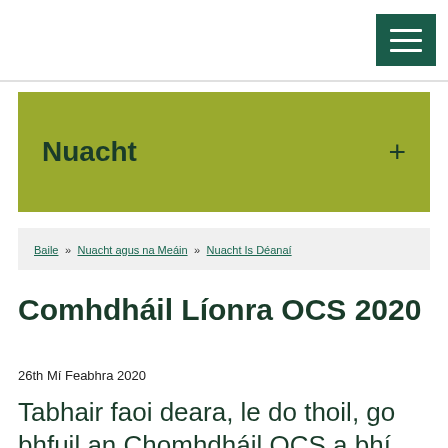[Menu button - hamburger icon]
Nuacht +
Baile » Nuacht agus na Meáin » Nuacht Is Déanaí
Comhdháil Líonra OCS 2020
26th Mí Feabhra 2020
Tabhair faoi deara, le do thoil, go bhfuil an Chomhdháil OCS a bhí